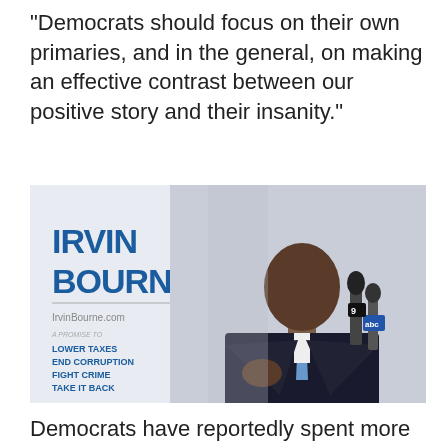“Democrats should focus on their own primaries, and in the general, on making an effective contrast between our positive story and their insanity.”
[Figure (photo): Photo of Irvin Bourne at a press conference, standing at a podium with microphones. Campaign banner behind him reads 'IRVIN BOURNE' with website IrvinBourne.com and bullet points: LOWER TAXES, END CORRUPTION, FIGHT CRIME, TAKE IT BACK.]
Democrats have reportedly spent more than